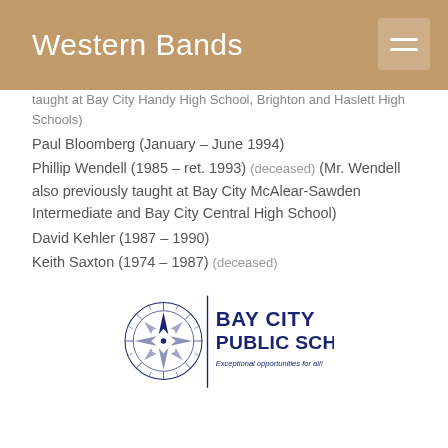Western Bands
taught at Bay City Handy High School, Brighton and Haslett High Schools)
Paul Bloomberg (January – June 1994)
Phillip Wendell (1985 – ret. 1993) (deceased) (Mr. Wendell also previously taught at Bay City McAlear-Sawden Intermediate and Bay City Central High School)
David Kehler (1987 – 1990)
Keith Saxton (1974 – 1987) (deceased)
[Figure (logo): Bay City Public Schools logo with compass rose and text 'BAY CITY PUBLIC SCHOOLS Exceptional opportunities for all!']